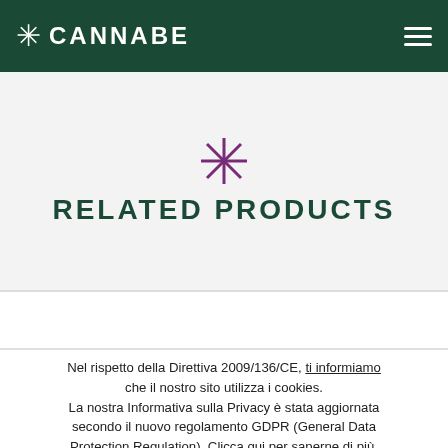CANNABE
RELATED PRODUCTS
[Figure (illustration): Purple cannabis leaf/star decorative icon above the Related Products heading]
Nel rispetto della Direttiva 2009/136/CE, ti informiamo che il nostro sito utilizza i cookies. La nostra Informativa sulla Privacy è stata aggiornata secondo il nuovo regolamento GDPR (General Data Protection Regulation). Clicca qui per saperne di più. Chiudendo questo avviso acconsenti all uso dei cookie e all informativa sulla privacy. Ok Accetta tutti